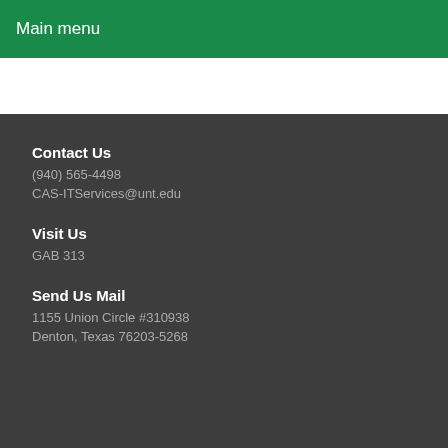Main menu
Contact Us
(940) 565-4498
CAS-ITServices@unt.edu
Visit Us
GAB 313
Send Us Mail
1155 Union Circle #310938
Denton, Texas 76203-5268